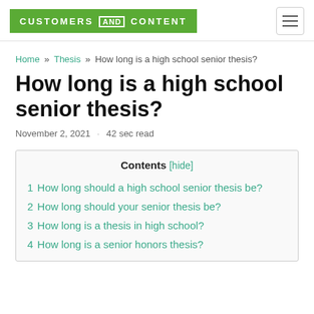CUSTOMERS AND CONTENT
Home » Thesis » How long is a high school senior thesis?
How long is a high school senior thesis?
November 2, 2021 · 42 sec read
Contents [hide]
1 How long should a high school senior thesis be?
2 How long should your senior thesis be?
3 How long is a thesis in high school?
4 How long is a senior honors thesis?